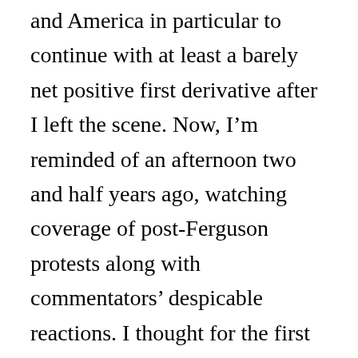and America in particular to continue with at least a barely net positive first derivative after I left the scene. Now, I'm reminded of an afternoon two and half years ago, watching coverage of post-Ferguson protests along with commentators' despicable reactions. I thought for the first time what many others concluded long before: maybe this country just can't go on. Maybe it cannot overcome its history. It needs a real reset, a civil war level reset, to survive, if it was to survive at all. But the thought passed. Surely, the